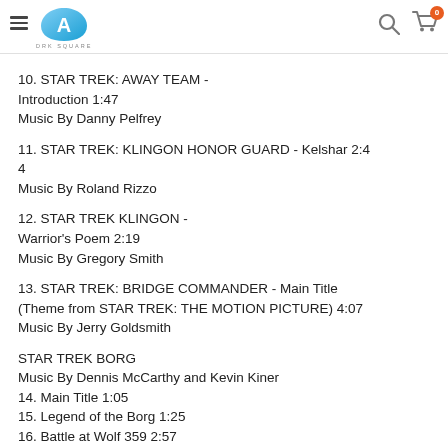DRK SQUARE navigation header with logo, search, and cart
10. STAR TREK: AWAY TEAM - Introduction 1:47
Music By Danny Pelfrey
11. STAR TREK: KLINGON HONOR GUARD - Kelshar 2:44
Music By Roland Rizzo
12. STAR TREK KLINGON - Warrior's Poem 2:19
Music By Gregory Smith
13. STAR TREK: BRIDGE COMMANDER - Main Title (Theme from STAR TREK: THE MOTION PICTURE) 4:07
Music By Jerry Goldsmith
STAR TREK BORG
Music By Dennis McCarthy and Kevin Kiner
14. Main Title 1:05
15. Legend of the Borg 1:25
16. Battle at Wolf 359 2:57
17. The Battle Rages 0:58
18. (cut off)